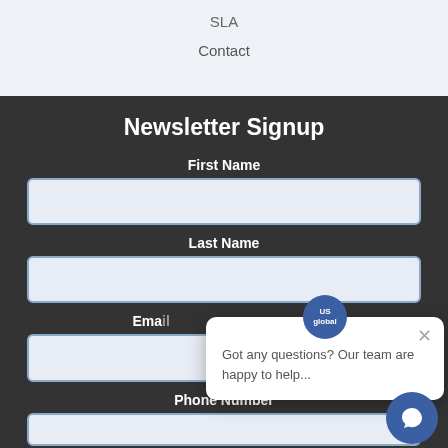SLA
Contact
Newsletter Signup
First Name
Last Name
Ema[il]
Phone Number
[Figure (screenshot): Chat popup widget with USglobal icon saying 'Got any questions? Our team are happy to help...' with a close X button, and a circular blue chat button at bottom right]